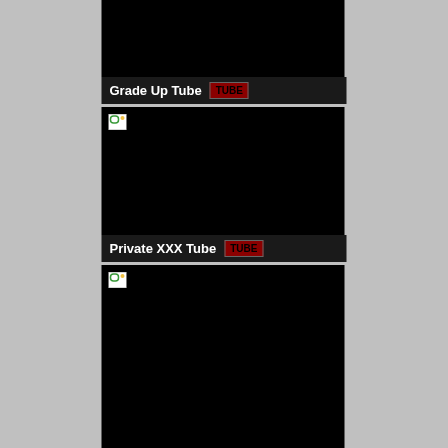[Figure (screenshot): Black thumbnail image placeholder for Grade Up Tube]
Grade Up Tube TUBE
[Figure (screenshot): Black thumbnail image placeholder with broken image icon for Private XXX Tube]
Private XXX Tube TUBE
[Figure (screenshot): Black thumbnail image placeholder with broken image icon, partial third card]